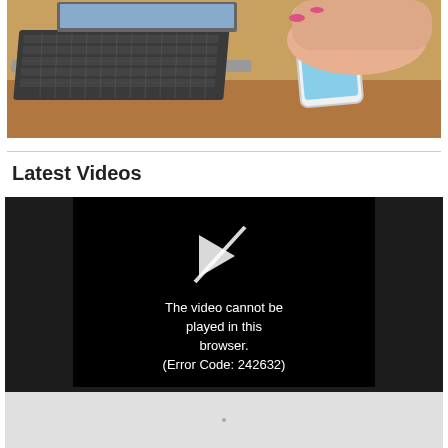[Figure (photo): Person holding a smartphone next to a laptop keyboard on a wooden desk]
Latest Videos
[Figure (screenshot): Video player showing error: The video cannot be played in this browser. (Error Code: 242632)]